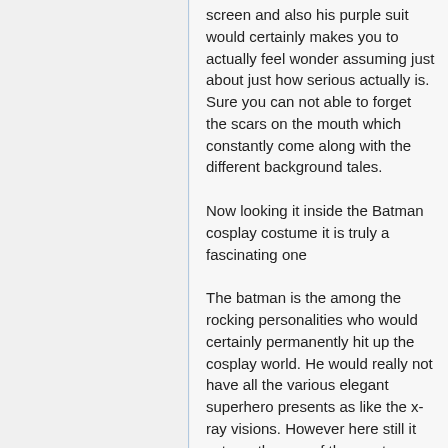screen and also his purple suit would certainly makes you to actually feel wonder assuming just about just how serious actually is. Sure you can not able to forget the scars on the mouth which constantly come along with the different background tales.
Now looking it inside the Batman cosplay costume it is truly a fascinating one
The batman is the among the rocking personalities who would certainly permanently hit up the cosplay world. He would really not have all the various elegant superhero presents as like the x-ray visions. However here still it acts as the one of the most enjoyed superheroes that is shaking inside along with outside the screen. That as well when you check